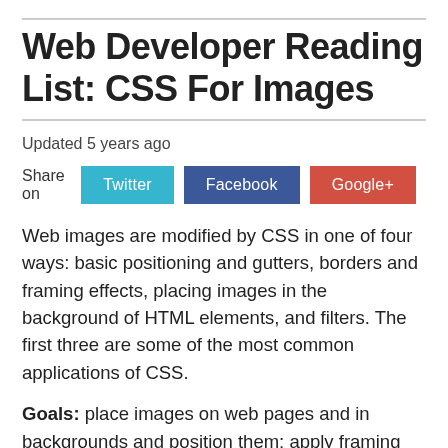Web Developer Reading List: CSS For Images
Updated 5 years ago
Share on  Twitter  Facebook  Google+
Web images are modified by CSS in one of four ways: basic positioning and gutters, borders and framing effects, placing images in the background of HTML elements, and filters. The first three are some of the most common applications of CSS.
Goals: place images on web pages and in backgrounds and position them; apply framing